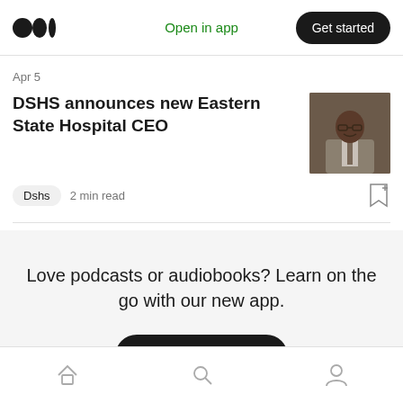Open in app  Get started
Apr 5
DSHS announces new Eastern State Hospital CEO
Dshs  2 min read
Love podcasts or audiobooks? Learn on the go with our new app.
Try Knowable
Home  Search  Profile